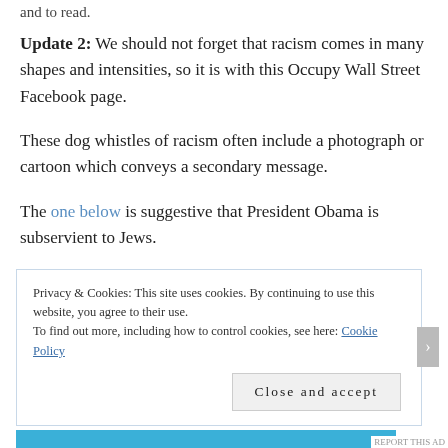and to read.
Update 2: We should not forget that racism comes in many shapes and intensities, so it is with this Occupy Wall Street Facebook page.
These dog whistles of racism often include a photograph or cartoon which conveys a secondary message.
The one below is suggestive that President Obama is subservient to Jews.
Privacy & Cookies: This site uses cookies. By continuing to use this website, you agree to their use.
To find out more, including how to control cookies, see here: Cookie Policy

Close and accept